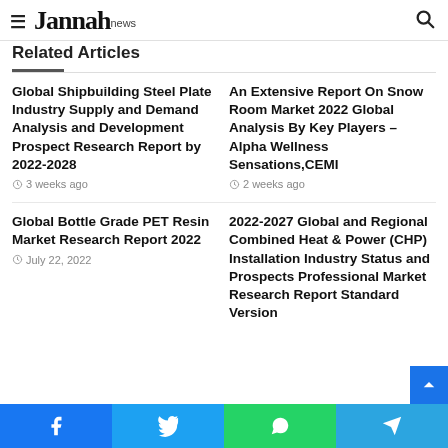Jannah news
Related Articles
Global Shipbuilding Steel Plate Industry Supply and Demand Analysis and Development Prospect Research Report by 2022-2028
3 weeks ago
An Extensive Report On Snow Room Market 2022 Global Analysis By Key Players – Alpha Wellness Sensations,CEMI
2 weeks ago
Global Bottle Grade PET Resin Market Research Report 2022
July 22, 2022
2022-2027 Global and Regional Combined Heat & Power (CHP) Installation Industry Status and Prospects Professional Market Research Report Standard Version
Facebook | Twitter | WhatsApp | Telegram